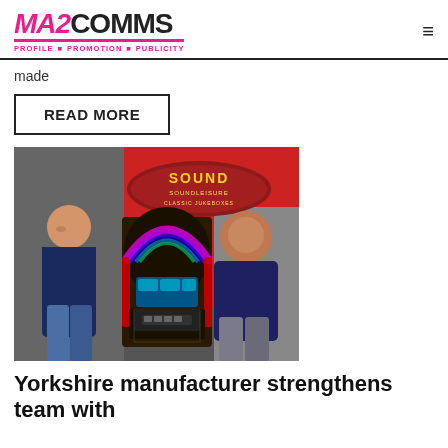MA2COMMS PROFILE ■ PROMOTION ■ PUBLICITY
made
READ MORE
[Figure (photo): Two people standing on either side of a colourful illuminated jukebox with a 'Sound Leisure Classic Jukeboxes' sign/logo in the background.]
Yorkshire manufacturer strengthens team with